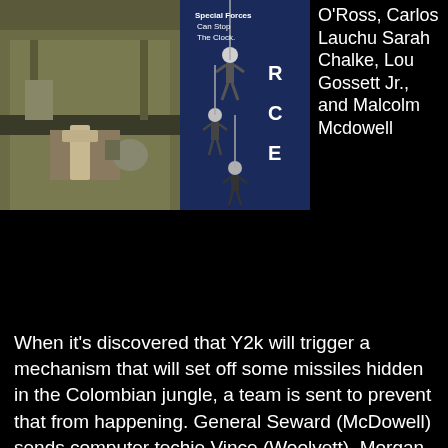[Figure (photo): A movie/DVD cover image showing a soldier holding a gun on the left side, and on the right side a blue-tinted image of special forces rappelling down a building. Text on image reads 'Special Forces Can Stop The Clock.']
O'Ross, Carlos Lauchu Sarah Chalke, Lou Gossett Jr., and Malcolm Mcdowell
When it's discovered that Y2k will trigger a mechanism that will set off some missiles hidden in the Colombian jungle, a team is sent to prevent that from happening. General Seward (McDowell) sends computer techie Vince (Woolvett), Morgan (Gossett